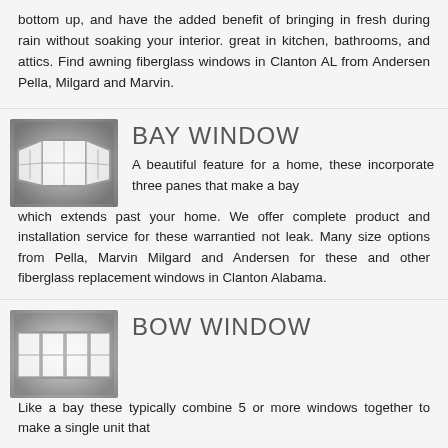bottom up, and have the added benefit of bringing in fresh during rain without soaking your interior. great in kitchen, bathrooms, and attics. Find awning fiberglass windows in Clanton AL from Andersen Pella, Milgard and Marvin.
[Figure (illustration): Bay window illustration showing a wide curved window unit with three panes on a gray gradient background]
BAY WINDOW
A beautiful feature for a home, these incorporate three panes that make a bay which extends past your home. We offer complete product and installation service for these warrantied not leak. Many size options from Pella, Marvin Milgard and Andersen for these and other fiberglass replacement windows in Clanton Alabama.
[Figure (illustration): Bow window illustration showing a wide flat window unit with multiple panes on a gray gradient background]
BOW WINDOW
Like a bay these typically combine 5 or more windows together to make a single unit that